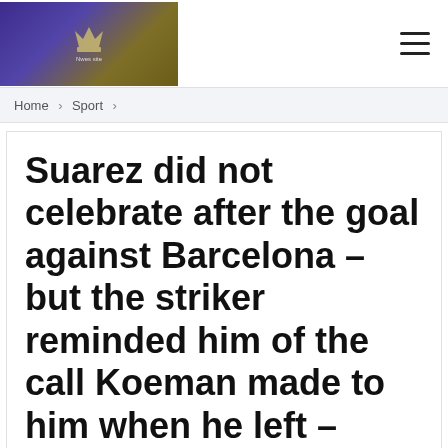Home > Sport >
Suarez did not celebrate after the goal against Barcelona – but the striker reminded him of the call Koeman made to him when he left –